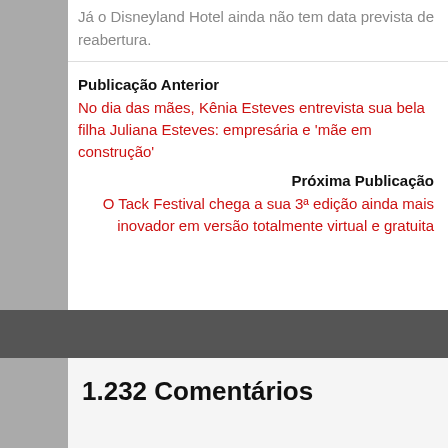Já o Disneyland Hotel ainda não tem data prevista de reabertura.
Publicação Anterior
No dia das mães, Kênia Esteves entrevista sua bela filha Juliana Esteves: empresária e 'mãe em construção'
Próxima Publicação
O Tack Festival chega a sua 3ª edição ainda mais inovador em versão totalmente virtual e gratuita
1.232 Comentários